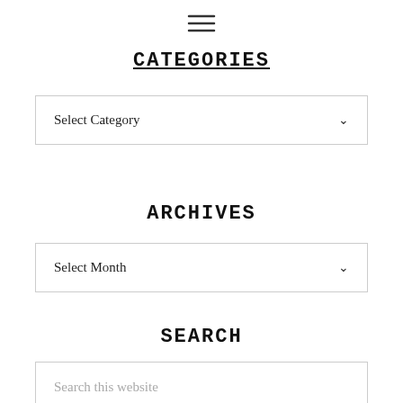[Figure (other): Hamburger menu icon with three horizontal lines]
CATEGORIES
Select Category
ARCHIVES
Select Month
SEARCH
Search this website